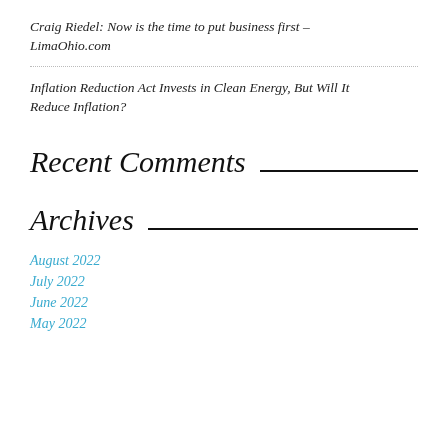Craig Riedel: Now is the time to put business first – LimaOhio.com
Inflation Reduction Act Invests in Clean Energy, But Will It Reduce Inflation?
Recent Comments
Archives
August 2022
July 2022
June 2022
May 2022